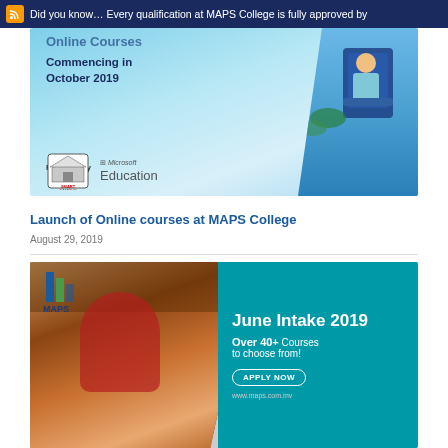Did you know… Every qualification at MAPS College is fully approved by
[Figure (illustration): Online Courses banner with 'Commencing in October 2019', powered by Smart Campus and Microsoft Education logos, tropical background with student illustration]
Launch of Online courses at MAPS College
August 29, 2019
[Figure (illustration): June Intake 2019 banner: students studying in library on left, teal panel on right saying 'June Intake 2019 Over 40+ Courses to choose from! APPLY NOW www.maps.com.mv']